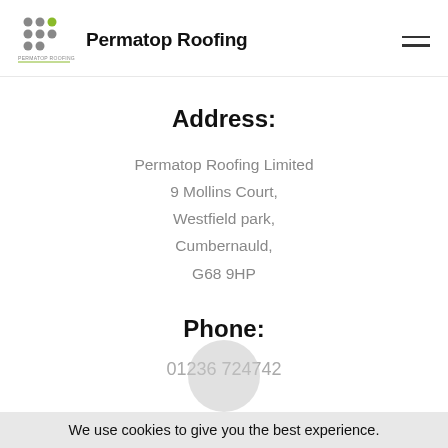Permatop Roofing
Address:
Permatop Roofing Limited
9 Mollins Court,
Westfield park,
Cumbernauld,
G68 9HP
Phone:
01236 724742
We use cookies to give you the best experience.